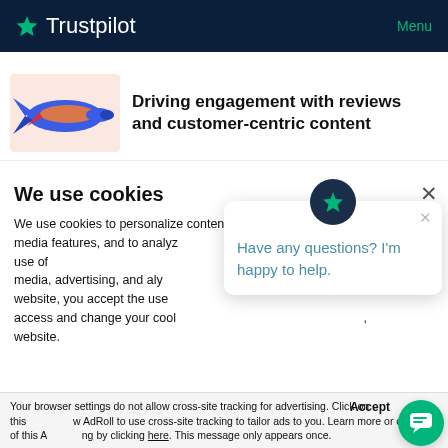Trustpilot   Menu
[Figure (illustration): Colorful illustration of a flying fish/rocket with blue, orange and red colors on a pink/salmon background]
Driving engagement with reviews and customer-centric content
We use cookies
We use cookies to personalize content and ads, provide social media features, and to analyze information about your use of our social media, advertising, and analytics partners. By using website, you accept the use of cookies. You can access and change your cookie settings on this website.
[Figure (screenshot): Chat popup with Trustpilot star icon and message: Have any questions? I'm happy to help.]
Your browser settings do not allow cross-site tracking for advertising. Click on this to allow AdRoll to use cross-site tracking to tailor ads to you. Learn more or opt out of this AdRoll tracking by clicking here. This message only appears once.